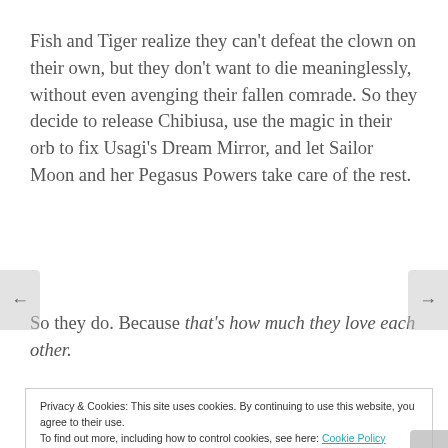Fish and Tiger realize they can't defeat the clown on their own, but they don't want to die meaninglessly, without even avenging their fallen comrade. So they decide to release Chibiusa, use the magic in their orb to fix Usagi's Dream Mirror, and let Sailor Moon and her Pegasus Powers take care of the rest.
So they do. Because that's how much they love each other.
[Figure (photo): Partial view of an anime image with teal/blue background and orange/yellow figure, partially visible at bottom of page]
Privacy & Cookies: This site uses cookies. By continuing to use this website, you agree to their use.
To find out more, including how to control cookies, see here: Cookie Policy
Close and accept